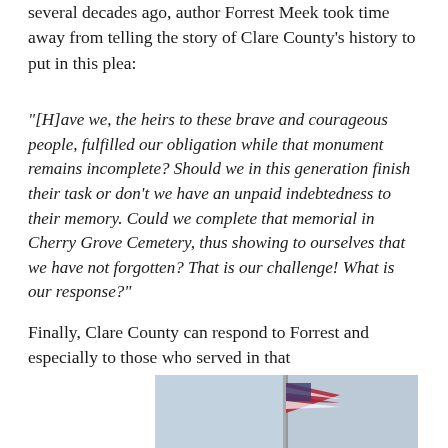several decades ago, author Forrest Meek took time away from telling the story of Clare County's history to put in this plea:
“[H]ave we, the heirs to these brave and courageous people, fulfilled our obligation while that monument remains incomplete? Should we in this generation finish their task or don’t we have an unpaid indebtedness to their memory. Could we complete that memorial in Cherry Grove Cemetery, thus showing to ourselves that we have not forgotten? That is our challenge! What is our response?”
Finally, Clare County can respond to Forrest and especially to those who served in that
[Figure (photo): Photograph showing a flag pole with an American flag against a grey sky, split into two panels]